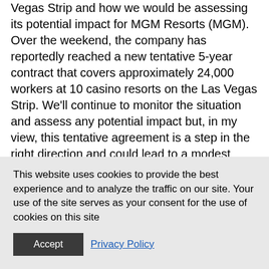Vegas Strip and how we would be assessing its potential impact for MGM Resorts (MGM). Over the weekend, the company has reportedly reached a new tentative 5-year contract that covers approximately 24,000 workers at 10 casino resorts on the Las Vegas Strip. We'll continue to monitor the situation and assess any potential impact but, in my view, this tentative agreement is a step in the right direction and could lead to a modest boost to MGM's properties as its competitors contend with the strike.
Our price target on MGM Resorts
This website uses cookies to provide the best experience and to analyze the traffic on our site. Your use of the site serves as your consent for the use of cookies on this site